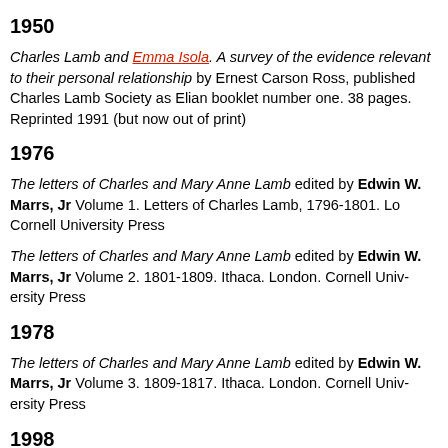1950
Charles Lamb and Emma Isola. A survey of the evidence relevant to their personal relationship by Ernest Carson Ross, published Charles Lamb Society as Elian booklet number one. 38 pages. Reprinted 1991 (but now out of print)
1976
The letters of Charles and Mary Anne Lamb edited by Edwin W. Marrs, Jr Volume 1. Letters of Charles Lamb, 1796-1801. Lo Cornell University Press
The letters of Charles and Mary Anne Lamb edited by Edwin W. Marrs, Jr Volume 2. 1801-1809. Ithaca. London. Cornell University Press
1978
The letters of Charles and Mary Anne Lamb edited by Edwin W. Marrs, Jr Volume 3. 1809-1817. Ithaca. London. Cornell University Press
1998
The Silence of the Lambs: anti-maniacal regimes in the writing...